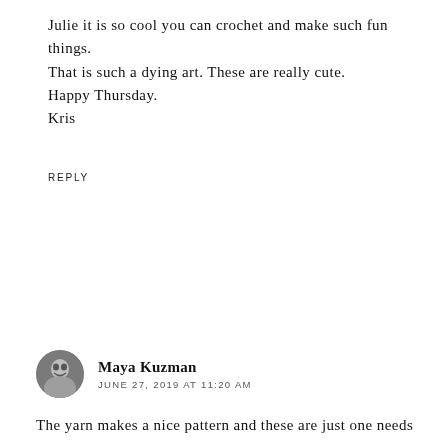Julie it is so cool you can crochet and make such fun things. That is such a dying art. These are really cute.
Happy Thursday.
Kris
REPLY
Maya Kuzman
JUNE 27, 2019 AT 11:20 AM
The yarn makes a nice pattern and these are just one needs for the old I Hope holidays Julie I...